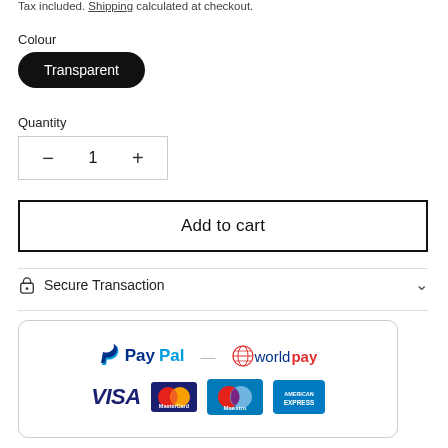Tax included. Shipping calculated at checkout.
Colour
Transparent
Quantity
− 1 +
Add to cart
Secure Transaction
[Figure (logo): Payment logos: PayPal, Worldpay, Visa, MasterCard, Maestro, American Express]